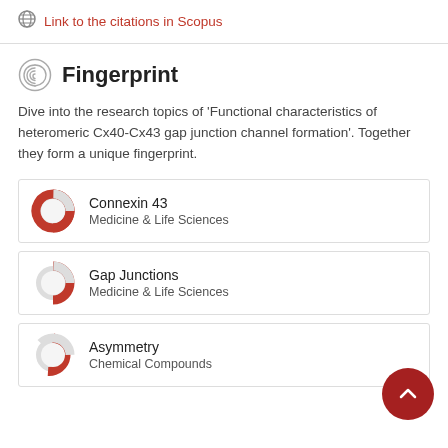Link to the citations in Scopus
Fingerprint
Dive into the research topics of 'Functional characteristics of heteromeric Cx40-Cx43 gap junction channel formation'. Together they form a unique fingerprint.
Connexin 43 — Medicine & Life Sciences
Gap Junctions — Medicine & Life Sciences
Asymmetry — Chemical Compounds